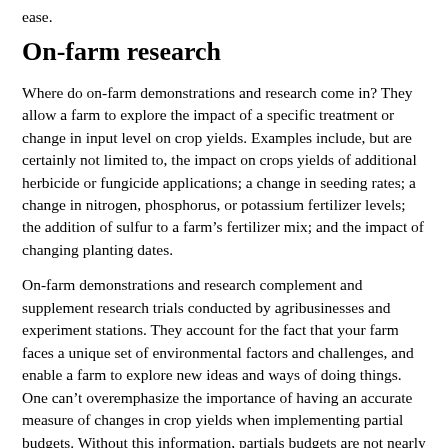ease.
On-farm research
Where do on-farm demonstrations and research come in? They allow a farm to explore the impact of a specific treatment or change in input level on crop yields. Examples include, but are certainly not limited to, the impact on crops yields of additional herbicide or fungicide applications; a change in seeding rates; a change in nitrogen, phosphorus, or potassium fertilizer levels; the addition of sulfur to a farm’s fertilizer mix; and the impact of changing planting dates.
On-farm demonstrations and research complement and supplement research trials conducted by agribusinesses and experiment stations. They account for the fact that your farm faces a unique set of environmental factors and challenges, and enable a farm to explore new ideas and ways of doing things. One can’t overemphasize the importance of having an accurate measure of changes in crop yields when implementing partial budgets. Without this information, partials budgets are not nearly as useful.
As a final note, if you’re already engaged in on-farm demonstrations and research, continue these efforts. If you’re not as familiar with these tools, start implementing them. Possible